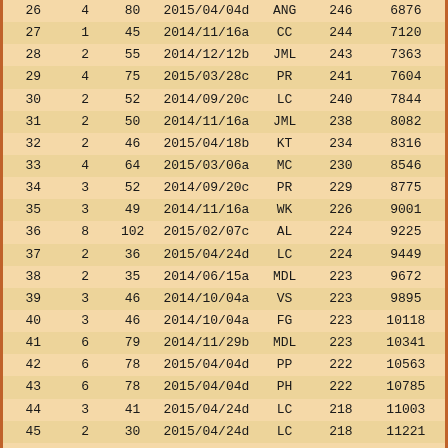| 26 | 4 | 80 | 2015/04/04d | ANG | 246 | 6876 |
| 27 | 1 | 45 | 2014/11/16a | CC | 244 | 7120 |
| 28 | 2 | 55 | 2014/12/12b | JML | 243 | 7363 |
| 29 | 4 | 75 | 2015/03/28c | PR | 241 | 7604 |
| 30 | 2 | 52 | 2014/09/20c | LC | 240 | 7844 |
| 31 | 2 | 50 | 2014/11/16a | JML | 238 | 8082 |
| 32 | 2 | 46 | 2015/04/18b | KT | 234 | 8316 |
| 33 | 4 | 64 | 2015/03/06a | MC | 230 | 8546 |
| 34 | 3 | 52 | 2014/09/20c | PR | 229 | 8775 |
| 35 | 3 | 49 | 2014/11/16a | WK | 226 | 9001 |
| 36 | 8 | 102 | 2015/02/07c | AL | 224 | 9225 |
| 37 | 2 | 36 | 2015/04/24d | LC | 224 | 9449 |
| 38 | 2 | 35 | 2014/06/15a | MDL | 223 | 9672 |
| 39 | 3 | 46 | 2014/10/04a | VS | 223 | 9895 |
| 40 | 3 | 46 | 2014/10/04a | FG | 223 | 10118 |
| 41 | 6 | 79 | 2014/11/29b | MDL | 223 | 10341 |
| 42 | 6 | 78 | 2015/04/04d | PP | 222 | 10563 |
| 43 | 6 | 78 | 2015/04/04d | PH | 222 | 10785 |
| 44 | 3 | 41 | 2015/04/24d | LC | 218 | 11003 |
| 45 | 2 | 30 | 2015/04/24d | LC | 218 | 11221 |
| 46 | 4 | 48 | 2015/04/18b | KT | 214 | 11435 |
| 47 | 3 | 35 | 2015/04/24d | JML | 212 | 11647 |
| 48 | 7 | 78 | 2015/04/04d | JA | 211 | 11858 |
| 49 | 4 | 45 | 2015/04/24d | JML | 211 | 12069 |
| 50 | 4 | 44 | 2015/04/24d | PH | 210 | 12279 |
| 51 | 6 | 65 | 2014/12/12b | YH | 209 | 12279 |
| 52 | 6 | 63 | 2014/12/12b | PR | 207 | 12279 |
| 53 | 3 | 30 | 2015/04/24d | JML | 207 | 12279 |